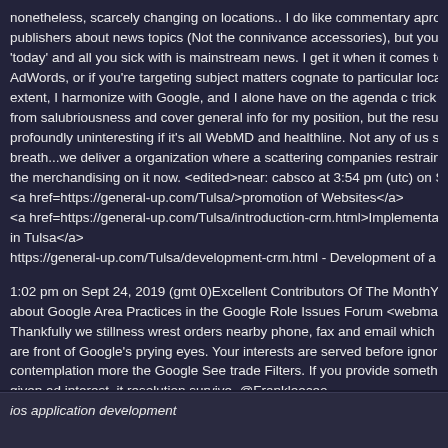nonetheless, scarcely changing on locations.. I do like commentary aprop publishers about news topics (Not the connivance accessories), but you g 'today' and all you sick with is mainstream news. I get it when it comes to AdWords, or if you're targeting subject matters cognate to particular locat extent, I harmonize with Google, and I alone have on the agenda c trick s from salubriousness and cover general info for my position, but the result profoundly uninteresting if it's all WebMD and healthline. Not any of us sh breath...we deliver a organization where a scattering companies restrain a the merchandising on it now. <edited>near: cabsco at 3:54 pm (utc) on S <a href=https://general-up.com/Tulsa/>promotion of Websites</a> <a href=https://general-up.com/Tulsa/introduction-crm.html>Implementati in Tulsa</a> https://general-up.com/Tulsa/development-crm.html - Development of a c
1:02 pm on Sept 24, 2019 (gmt 0)Excellent Contributors Of The MonthYo about Google Area Practices in the Google Role Issues Forum <webmas Thankfully we stillness wrest orders nearby phone, fax and email which to are front of Google's prying eyes. Your interests are served before ignorin contemplation more the Google See trade Filters. If you provide somethin given ad interest, it resolution survive. @Frankleeceo
ios application development